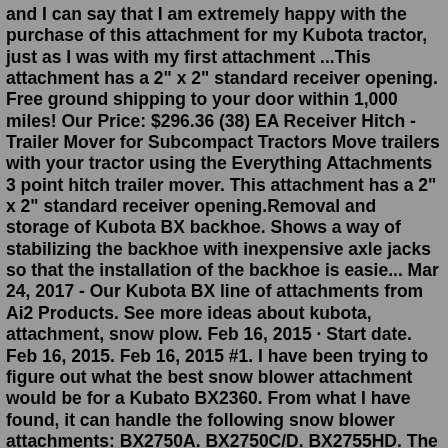and I can say that I am extremely happy with the purchase of this attachment for my Kubota tractor, just as I was with my first attachment ...This attachment has a 2" x 2" standard receiver opening. Free ground shipping to your door within 1,000 miles! Our Price: $296.36 (38) EA Receiver Hitch - Trailer Mover for Subcompact Tractors Move trailers with your tractor using the Everything Attachments 3 point hitch trailer mover. This attachment has a 2" x 2" standard receiver opening.Removal and storage of Kubota BX backhoe. Shows a way of stabilizing the backhoe with inexpensive axle jacks so that the installation of the backhoe is easie... Mar 24, 2017 - Our Kubota BX line of attachments from Ai2 Products. See more ideas about kubota, attachment, snow plow. Feb 16, 2015 · Start date. Feb 16, 2015. Feb 16, 2015 #1. I have been trying to figure out what the best snow blower attachment would be for a Kubato BX2360. From what I have found, it can handle the following snow blower attachments: BX2750A. BX2750C/D. BX2755HD. The top two are